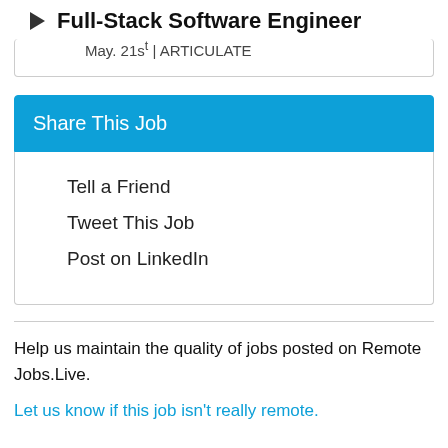Full-Stack Software Engineer
May. 21st | ARTICULATE
Share This Job
Tell a Friend
Tweet This Job
Post on LinkedIn
Help us maintain the quality of jobs posted on Remote Jobs.Live.
Let us know if this job isn't really remote.